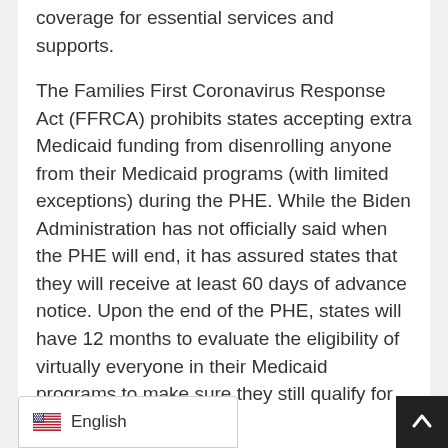coverage for essential services and supports.
The Families First Coronavirus Response Act (FFRCA) prohibits states accepting extra Medicaid funding from disenrolling anyone from their Medicaid programs (with limited exceptions) during the PHE. While the Biden Administration has not officially said when the PHE will end, it has assured states that they will receive at least 60 days of advance notice. Upon the end of the PHE, states will have 12 months to evaluate the eligibility of virtually everyone in their Medicaid programs to make sure they still qualify for the program.
ACL has developed a new fact sheet to help grantees prepare for these eventual changes. The fact sheet describes how FFCRA impacts Medicaid e things the aging and disability